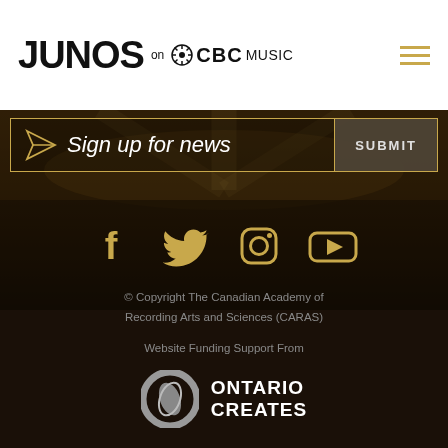JUNOS on CBC MUSIC
Sign up for news
SUBMIT
[Figure (other): Social media icons: Facebook, Twitter, Instagram, YouTube in gold color]
© Copyright The Canadian Academy of Recording Arts and Sciences (CARAS)
Website Funding Support From
[Figure (logo): Ontario Creates logo with circular graphic and white text]